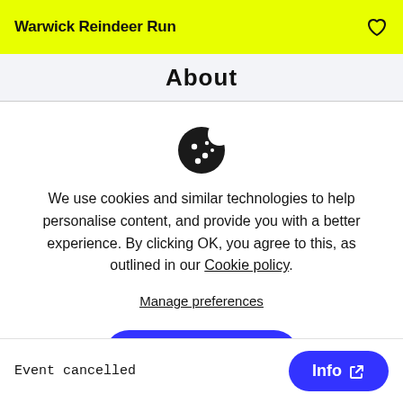Warwick Reindeer Run
About
[Figure (illustration): Cookie consent icon — a cookie with bite taken out, showing dots]
We use cookies and similar technologies to help personalise content, and provide you with a better experience. By clicking OK, you agree to this, as outlined in our Cookie policy.
Manage preferences
Accept all
Event cancelled
Info